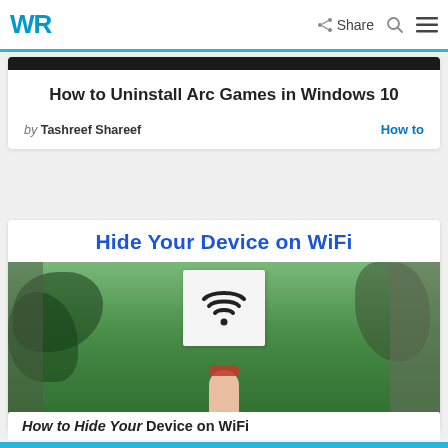WR | Share | Search | Menu
How to Uninstall Arc Games in Windows 10
by Tashreef Shareef
How to
[Figure (photo): Article card with bold blue heading 'Hide Your Device on WiFi' and a photo of a hand holding a white card with a WiFi symbol against a green outdoor background]
How to Hide Your Device on WiFi